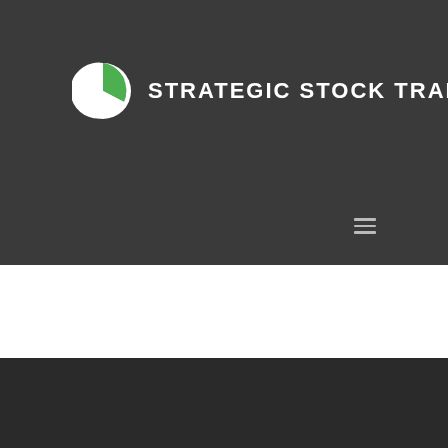[Figure (logo): Strategic Stock Trades logo: a pie chart icon with white and green segments, followed by bold white uppercase text 'STRATEGIC STOCK TRADES']